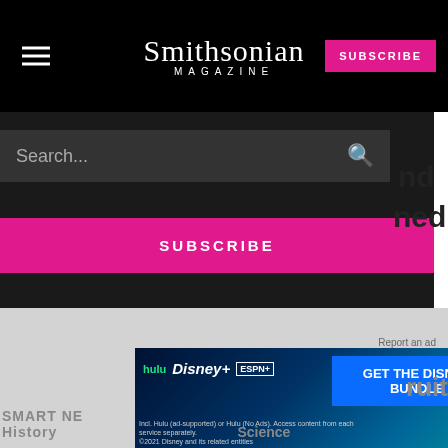Smithsonian MAGAZINE
[Figure (screenshot): Smithsonian Magazine website navigation overlay with search bar, SUBSCRIBE (pink button), GIVE A GIFT (outlined button), RENEW (outlined button) on dark background, with partial article text visible on right side and a Disney Bundle advertisement at the bottom]
Search...
SUBSCRIBE
GIVE A GIFT
RENEW
Report an ad
GET THE DISNEY BUNDLE
hulu Disney+ ESPN+
Incl. Hulu (ad-supported) or Hulu (No Ads). Access content from each service separately. ©2021 Disney and its related entities
SMART NEWS
History
Science